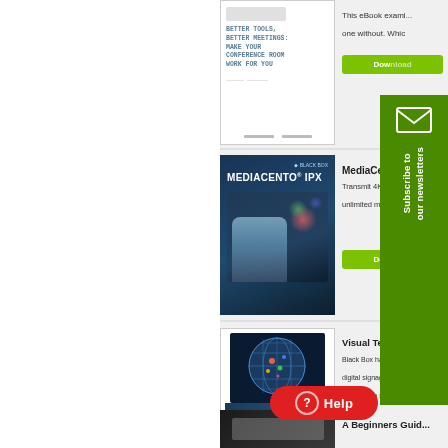[Figure (illustration): eBook thumbnail: 'Better Tools, Better Meetings: Make Your Conference Room Work For You']
This eBook examines one without. Whic
Down
[Figure (photo): MediaCento IPX product brochure cover - woman presenting in front of a large display screen]
MediaCen...
Transmit 4K unlimited n...
Dow
[Figure (illustration): Visual Technology Solutions brochure cover with a globe made of metal grid]
Visual Technolog...
Black Box has an e... digital signage pla... solutions to solve y...
A Beginners Guid...
[Figure (infographic): Subscribe to our newsletters sidebar widget with envelope icon]
[Figure (other): Help button - red pill-shaped button with question mark icon and 'Help' text]